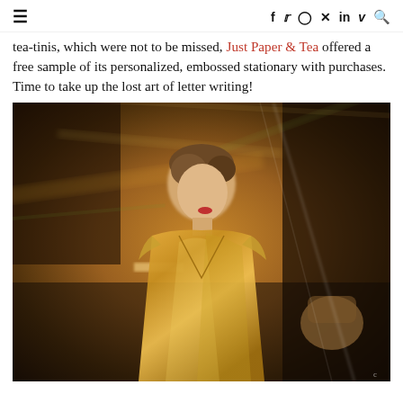≡  f  𝕥  ⊙  𝗣  in  𝗩  🔍
tea-tinis, which were not to be missed, Just Paper & Tea offered a free sample of its personalized, embossed stationary with purchases. Time to take up the lost art of letter writing!
[Figure (photo): A woman in a gold/bronze metallic wrap dress, photographed with motion blur in a warm-toned indoor setting. She has an updo hairstyle and red lipstick, and appears to be turning or moving.]